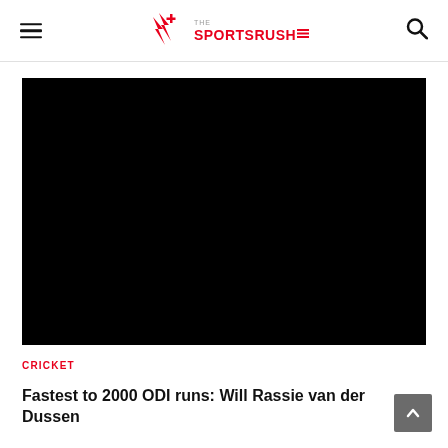The Sports Rush
[Figure (photo): Large black image placeholder for a video or photo related to the article about Rassie van der Dussen ODI runs]
CRICKET
Fastest to 2000 ODI runs: Will Rassie van der Dussen